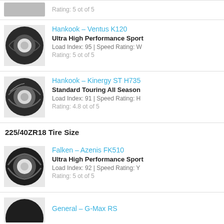Rating: 5 ot of 5
Hankook – Ventus K120 | Ultra High Performance Sport | Load Index: 95 | Speed Rating: W | Rating: 5 ot of 5
Hankook – Kinergy ST H735 | Standard Touring All Season | Load Index: 91 | Speed Rating: H | Rating: 4.8 ot of 5
225/40ZR18 Tire Size
Falken – Azenis FK510 | Ultra High Performance Sport | Load Index: 92 | Speed Rating: Y | Rating: 5 ot of 5
General – G-Max RS